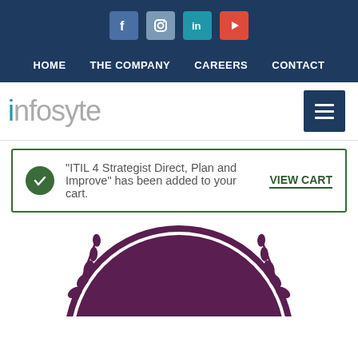[Figure (logo): Social media icons: Facebook, Instagram, LinkedIn, YouTube in colored square buttons on dark blue bar]
HOME  THE COMPANY  CAREERS  CONTACT
[Figure (logo): Infosyte logo with blue 'i' and grey text 'nfosyte', hamburger menu icon on right]
"ITIL 4 Strategist Direct, Plan and Improve" has been added to your cart.
VIEW CART
[Figure (illustration): Partial decorative badge/seal illustration with star and laurel wreath in dark purple/maroon color, shown cropped at bottom of page]